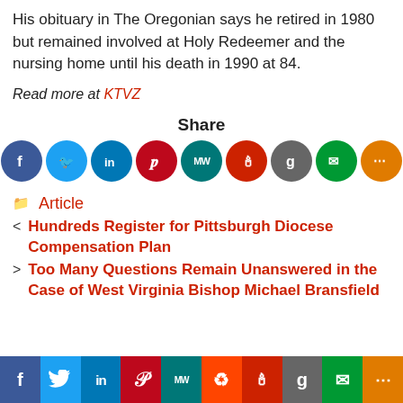His obituary in The Oregonian says he retired in 1980 but remained involved at Holy Redeemer and the nursing home until his death in 1990 at 84.
Read more at KTVZ
[Figure (infographic): Share buttons row: Facebook (blue), Twitter (light blue), LinkedIn (dark blue), Pinterest (red), MeWe (teal), Mighty Networks (red), Goodreads (gray), Email (green), Share (orange)]
Article
Hundreds Register for Pittsburgh Diocese Compensation Plan
Too Many Questions Remain Unanswered in the Case of West Virginia Bishop Michael Bransfield
[Figure (infographic): Bottom share bar with icons: Facebook, Twitter, LinkedIn, Pinterest, MeWe, Reddit, Mighty Networks, Goodreads, Email, Share]